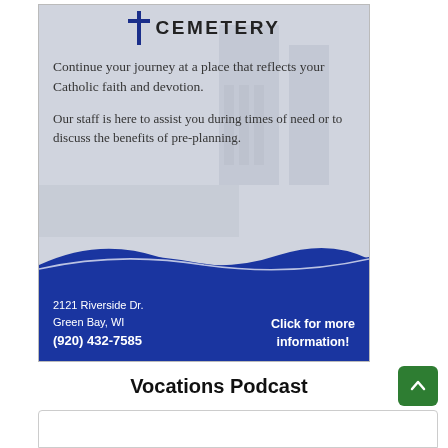[Figure (infographic): Catholic cemetery advertisement with dark blue cross icon, 'CEMETERY' heading, text about faith and pre-planning, wave design divider, address and phone number, and call-to-action.]
Continue your journey at a place that reflects your Catholic faith and devotion.
Our staff is here to assist you during times of need or to discuss the benefits of pre-planning.
2121 Riverside Dr.
Green Bay, WI
(920) 432-7585
Click for more information!
Vocations Podcast